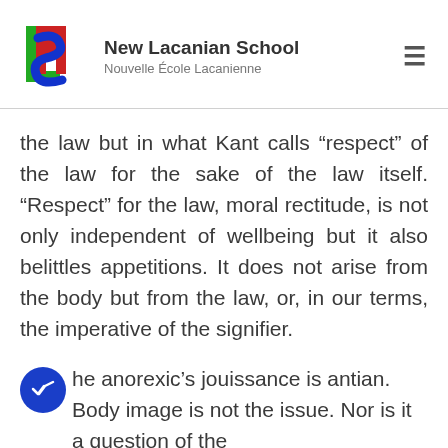[Figure (logo): New Lacanian School logo with interlocked N, S, L letters in red, blue, and green]
New Lacanian School
Nouvelle École Lacanienne
the law but in what Kant calls “respect” of the law for the sake of the law itself. “Respect” for the law, moral rectitude, is not only independent of wellbeing but it also belittles appetitions. It does not arise from the body but from the law, or, in our terms, the imperative of the signifier.
The anorexic’s jouissance is Kantian. Body image is not the issue. Nor is it a question of the